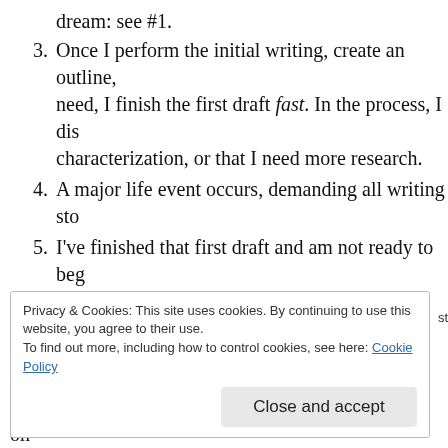dream: see #1.
Once I perform the initial writing, create an outline, need, I finish the first draft fast. In the process, I dis characterization, or that I need more research.
A major life event occurs, demanding all writing sto
I've finished that first draft and am not ready to beg a break.
Because I can.
Procrastination. I just don't want to.
Some projects get shelved by design, the rest...okay on have no control over the situation.
Privacy & Cookies: This site uses cookies. By continuing to use this website, you agree to their use. To find out more, including how to control cookies, see here: Cookie Policy